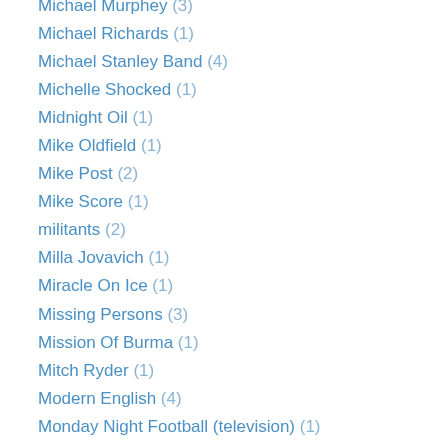Michael Murphey (3)
Michael Richards (1)
Michael Stanley Band (4)
Michelle Shocked (1)
Midnight Oil (1)
Mike Oldfield (1)
Mike Post (2)
Mike Score (1)
militants (2)
Milla Jovavich (1)
Miracle On Ice (1)
Missing Persons (3)
Mission Of Burma (1)
Mitch Ryder (1)
Modern English (4)
Monday Night Football (television) (1)
money (5)
Moonpools And Caterpillars (2)
Morgan Freeman (1)
mortality (9)